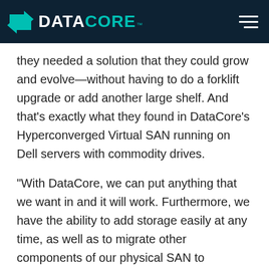[Figure (logo): DataCore logo with teal arrow icon and teal/white wordmark on dark navy background, with hamburger menu icon on right]
they needed a solution that they could grow and evolve—without having to do a forklift upgrade or add another large shelf. And that's exactly what they found in DataCore's Hyperconverged Virtual SAN running on Dell servers with commodity drives.
“With DataCore, we can put anything that we want in and it will work. Furthermore, we have the ability to add storage easily at any time, as well as to migrate other components of our physical SAN to DataCore in the future.” – Jerremy Schulthess, 1st Basis Consulting.